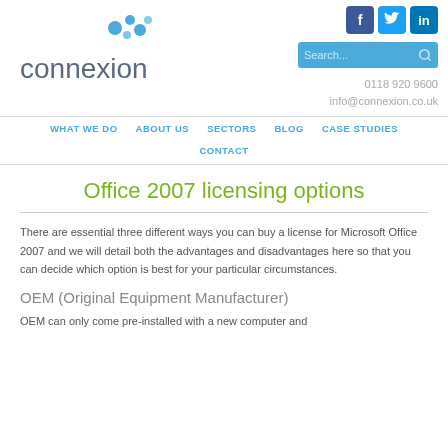[Figure (logo): Connexion company logo with blue droplet icon and 'connexion' text]
[Figure (infographic): Social media icons: Facebook, Twitter, LinkedIn]
Search...  0118 920 9600  info@connexion.co.uk
WHAT WE DO  ABOUT US  SECTORS  BLOG  CASE STUDIES  CONTACT
Office 2007 licensing options
There are essential three different ways you can buy a license for Microsoft Office 2007 and we will detail both the advantages and disadvantages here so that you can decide which option is best for your particular circumstances.
OEM (Original Equipment Manufacturer)
OEM can only come pre-installed with a new computer and